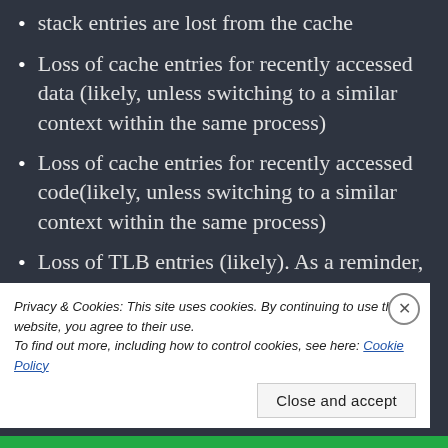stack entries are lost from the cache
Loss of cache entries for recently accessed data (likely, unless switching to a similar context within the same process)
Loss of cache entries for recently accessed code(likely, unless switching to a similar context within the same process)
Loss of TLB entries (likely). As a reminder, TLB stands for Translation Look-aside Buffer; this used for address translation computation that is required to implement virtual memory. This happens if you switch to a different process.
Privacy & Cookies: This site uses cookies. By continuing to use this website, you agree to their use.
To find out more, including how to control cookies, see here: Cookie Policy
Close and accept